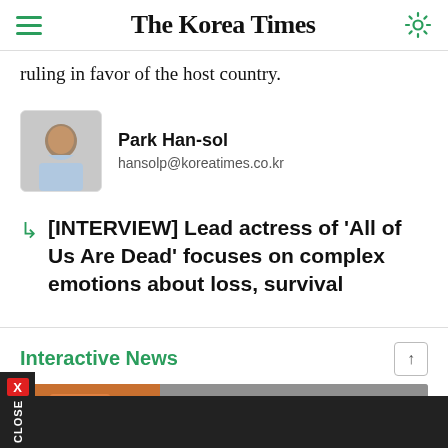The Korea Times
ruling in favor of the host country.
Park Han-sol
hansolp@koreatimes.co.kr
[INTERVIEW] Lead actress of 'All of Us Are Dead' focuses on complex emotions about loss, survival
Interactive News
[Figure (photo): News article thumbnail image showing people in orange gear/emergency workers]